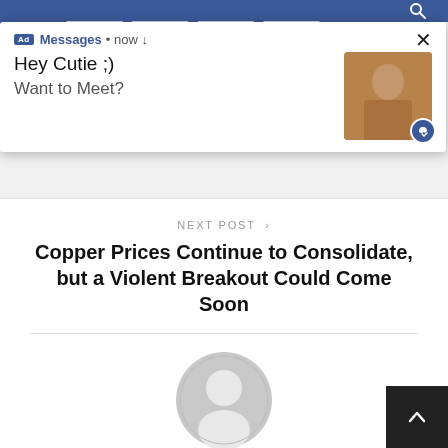[Figure (screenshot): Ad notification popup showing 'Hey Cutie ;) Want to Meet?' with a photo thumbnail and blue messenger-style badge]
NEXT POST >
Copper Prices Continue to Consolidate, but a Violent Breakout Could Come Soon
[Figure (illustration): Default grey user avatar / profile icon placeholder]
admin